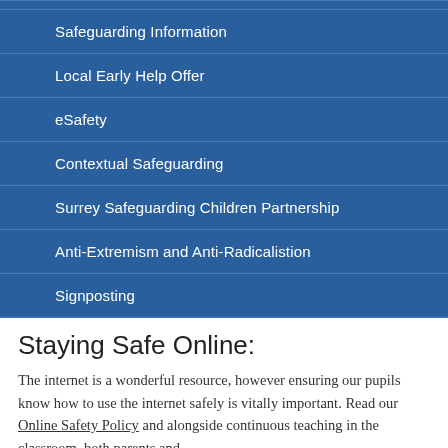Safeguarding Information
Local Early Help Offer
eSafety
Contextual Safeguarding
Surrey Safeguarding Children Partnership
Anti-Extremism and Anti-Radicalistion
Signposting
Staying Safe Online:
The internet is a wonderful resource, however ensuring our pupils know how to use the internet safely is vitally important. Read our Online Safety Policy and alongside continuous teaching in the classroom, both parents and